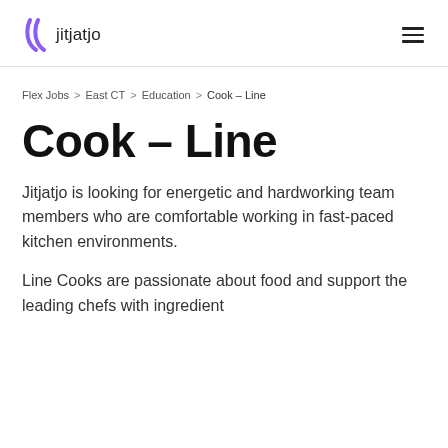jitjatjo
Flex Jobs > East CT > Education > Cook – Line
Cook – Line
Jitjatjo is looking for energetic and hardworking team members who are comfortable working in fast-paced kitchen environments.
Line Cooks are passionate about food and support the leading chefs with ingredient